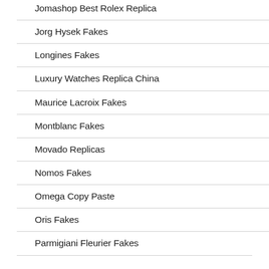Jomashop Best Rolex Replica
Jorg Hysek Fakes
Longines Fakes
Luxury Watches Replica China
Maurice Lacroix Fakes
Montblanc Fakes
Movado Replicas
Nomos Fakes
Omega Copy Paste
Oris Fakes
Parmigiani Fleurier Fakes